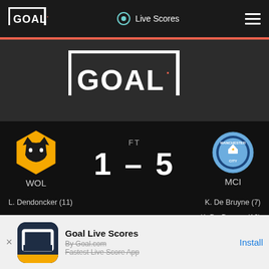GOAL — Live Scores
[Figure (logo): GOAL logo centered in dark gray banner]
[Figure (infographic): Match result: WOL 1 – 5 MCI (FT). Wolves crest left, Manchester City crest right. Scorers: L. Dendoncker (11) for WOL; K. De Bruyne (7), K. De Bruyne (16), K. De Bruyne (24), K. De Bruyne (60), R. Sterling (84) for MCI.]
Goal Live Scores
By Goal.com
Fastest Live Score App
Install